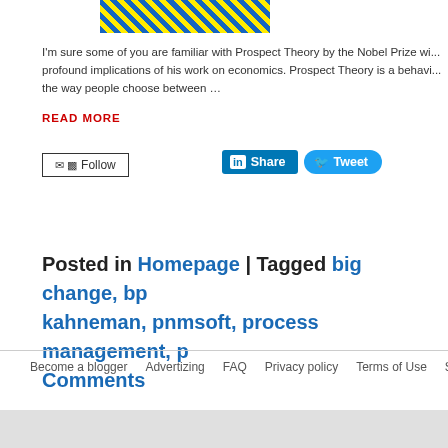[Figure (photo): Partial cropped image showing yellow and blue graphic/illustration at the top]
I'm sure some of you are familiar with Prospect Theory by the Nobel Prize wi... profound implications of his work on economics. Prospect Theory is a behavi... the way people choose between …
READ MORE
✉ ⊳ Follow
in Share   Tweet
Posted in Homepage | Tagged big change, b... kahneman, pnmsoft, process management, ... Comments
Become a blogger   Advertizing   FAQ   Privacy policy   Terms of Use   Site...